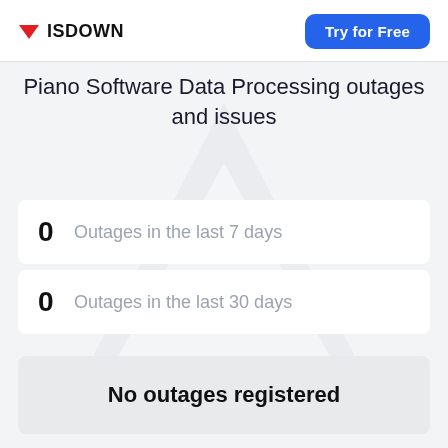ISDOWN | Try for Free
Piano Software Data Processing outages and issues
0  Outages in the last 7 days
0  Outages in the last 30 days
No outages registered